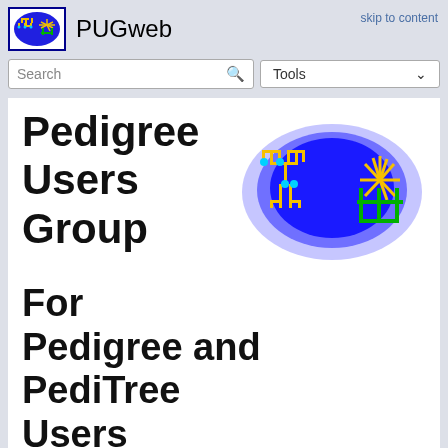PUGweb
skip to content
[Figure (logo): PUGweb logo: blue oval with yellow genealogy tree diagram and sun symbol on white background with dark blue border]
Pedigree Users Group
[Figure (logo): Large PUGweb logo: blue glowing oval with yellow genealogy pedigree chart and green/yellow sun symbol]
For Pedigree and PediTree Users
An associate member of the Federation of Family History Societies